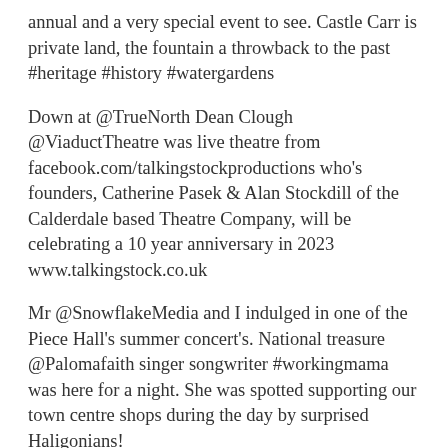annual and a very special event to see. Castle Carr is private land, the fountain a throwback to the past #heritage #history #watergardens
Down at @TrueNorth Dean Clough @ViaductTheatre was live theatre from facebook.com/talkingstockproductions who's founders, Catherine Pasek & Alan Stockdill of the Calderdale based Theatre Company, will be celebrating a 10 year anniversary in 2023 www.talkingstock.co.uk
Mr @SnowflakeMedia and I indulged in one of the Piece Hall's summer concert's. National treasure @Palomafaith singer songwriter #workingmama was here for a night. She was spotted supporting our town centre shops during the day by surprised Haligonians!
As a family, we were delivering our magazines today, packed with great articles, events and services available in our area. I met one home owner whilst delivering who I met years ago and she said